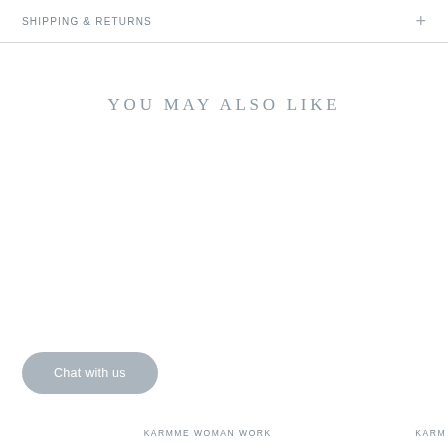SHIPPING & RETURNS
YOU MAY ALSO LIKE
Chat with us
KARMME WOMAN WORK
KARM